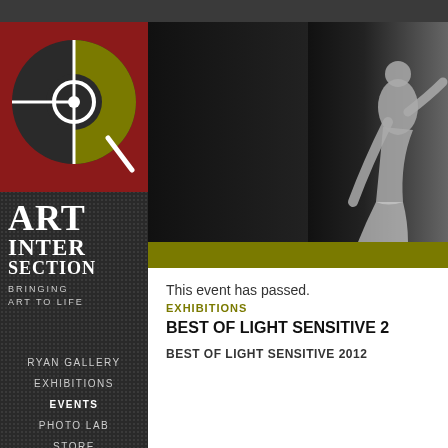[Figure (logo): Art Intersection logo - circular design with olive and white on red background with dark gray brand name text]
ART INTERSECTION
BRINGING ART TO LIFE
RYAN GALLERY
EXHIBITIONS
EVENTS
PHOTO LAB
STORE
MEMBERSHIP
ABOUT US
[Figure (photo): Black and white photograph showing a person/dancer in motion against dark background]
This event has passed.
EXHIBITIONS
BEST OF LIGHT SENSITIVE 2
BEST OF LIGHT SENSITIVE 2012